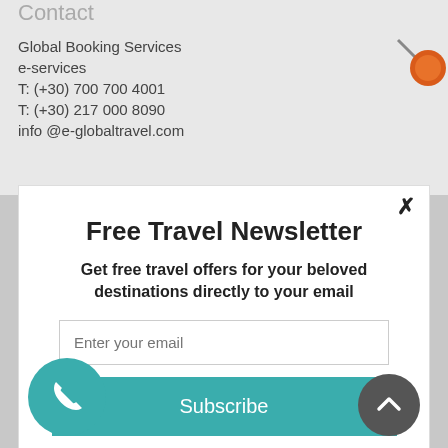Contact
Global Booking Services
e-services
T: (+30) 700 700 4001
T: (+30) 217 000 8090
info @e-globaltravel.com
Free Travel Newsletter
Get free travel offers for your beloved destinations directly to your email
Enter your email
Subscribe
powered by MailMunch